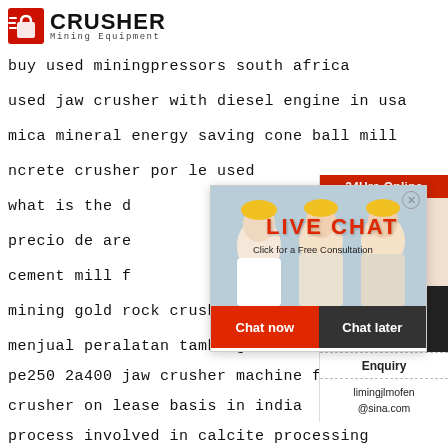[Figure (logo): Crusher Mining Equipment logo with red shopping bag icon and bold CRUSHER text]
buy used miningpressors south africa
used jaw crusher with diesel engine in usa
mica mineral energy saving cone ball mill
ncrete crusher por le used
what is the d...
precio de are...
cement mill f...
mining gold rock crusher pricemining gold roc...
menjual peralatan tambang emas
pe250 2a400 jaw crusher machine for sale
crusher on lease basis in india
process involved in calcite processing
[Figure (screenshot): Live chat popup with workers in hard hats, LIVE CHAT heading in red, Click for a Free Consultation text, Chat now and Chat later buttons]
[Figure (screenshot): Right sidebar with 24Hrs Online red header, customer service representative photo, Need questions & suggestion text, Chat Now button, Enquiry section, limingjlmofen@sina.com email]